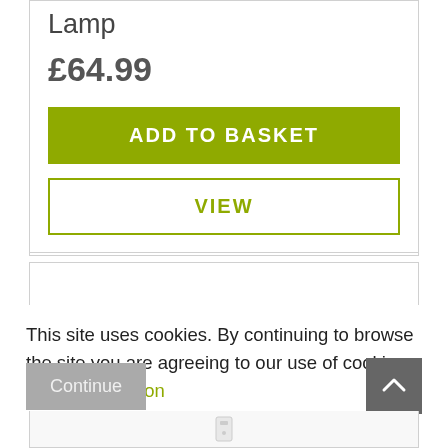Lamp
£64.99
ADD TO BASKET
VIEW
This site uses cookies. By continuing to browse the site you are agreeing to our use of cookies. More information
Continue